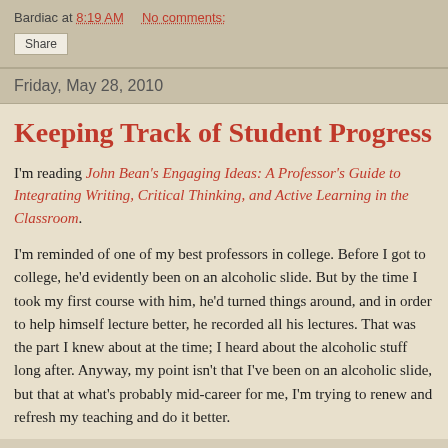Bardiac at 8:19 AM    No comments:
Share
Friday, May 28, 2010
Keeping Track of Student Progress
I'm reading John Bean's Engaging Ideas: A Professor's Guide to Integrating Writing, Critical Thinking, and Active Learning in the Classroom.
I'm reminded of one of my best professors in college. Before I got to college, he'd evidently been on an alcoholic slide. But by the time I took my first course with him, he'd turned things around, and in order to help himself lecture better, he recorded all his lectures. That was the part I knew about at the time; I heard about the alcoholic stuff long after. Anyway, my point isn't that I've been on an alcoholic slide, but that at what's probably mid-career for me, I'm trying to renew and refresh my teaching and do it better.